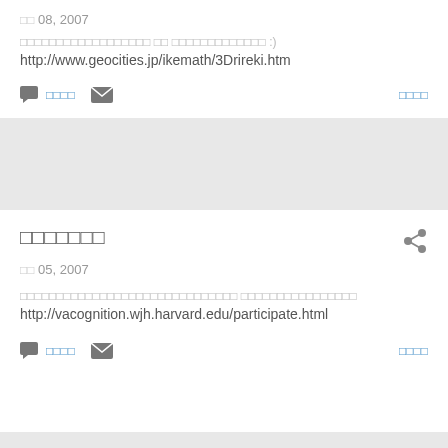08, 2007
□□□□□□□□□□□□□□□□□□ □□ □□□□□□□□□□□□□ :)
http://www.geocities.jp/ikemath/3Drireki.htm
□□□□
□□□□
□□□□□□□
05, 2007
□□□□□□□□□□□□□□□□□□□□□□□□□□□□□□ □□□□□□□□□□□□□□□□
http://vacognition.wjh.harvard.edu/participate.html
□□□□
□□□□